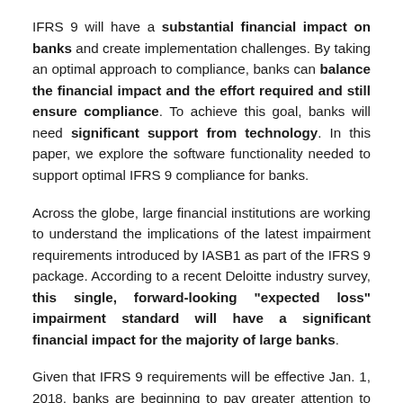IFRS 9 will have a substantial financial impact on banks and create implementation challenges. By taking an optimal approach to compliance, banks can balance the financial impact and the effort required and still ensure compliance. To achieve this goal, banks will need significant support from technology. In this paper, we explore the software functionality needed to support optimal IFRS 9 compliance for banks.
Across the globe, large financial institutions are working to understand the implications of the latest impairment requirements introduced by IASB1 as part of the IFRS 9 package. According to a recent Deloitte industry survey, this single, forward-looking "expected loss" impairment standard will have a significant financial impact for the majority of large banks.
Given that IFRS 9 requirements will be effective Jan. 1, 2018, banks are beginning to pay greater attention to this